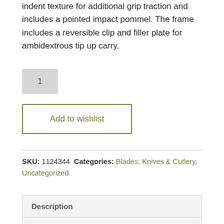indent texture for additional grip traction and includes a pointed impact pommel. The frame includes a reversible clip and filler plate for ambidextrous tip up carry.
1
Add to wishlist
SKU: 1124344  Categories: Blades, Knives & Cutlery, Uncategorized
Description
Additional information